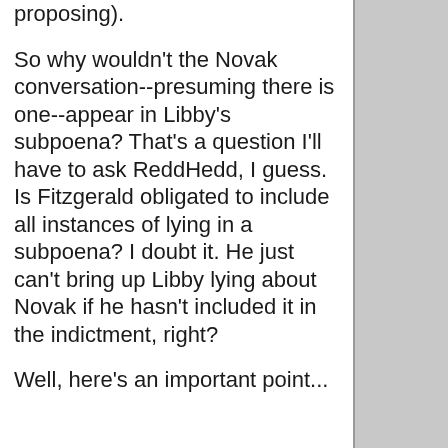proposing).
So why wouldn't the Novak conversation--presuming there is one--appear in Libby's subpoena? That's a question I'll have to ask ReddHedd, I guess. Is Fitzgerald obligated to include all instances of lying in a subpoena? I doubt it. He just can't bring up Libby lying about Novak if he hasn't included it in the indictment, right?
Well, here's an important point...